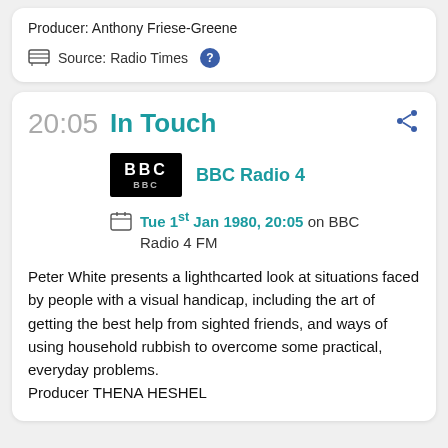Producer: Anthony Friese-Greene
Source: Radio Times
20:05
In Touch
BBC Radio 4
Tue 1st Jan 1980, 20:05 on BBC Radio 4 FM
Peter White presents a lighthcarted look at situations faced by people with a visual handicap, including the art of getting the best help from sighted friends, and ways of using household rubbish to overcome some practical, everyday problems.
Producer THENA HESHEL